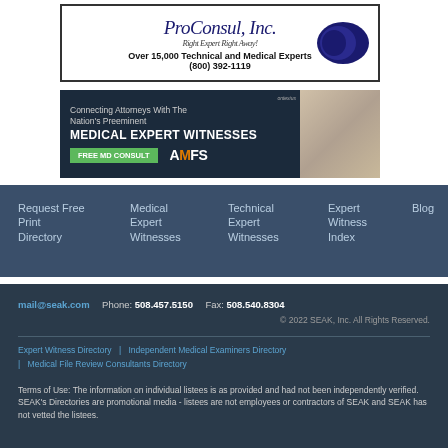[Figure (advertisement): ProConsul, Inc. - Right Expert Right Away! Over 15,000 Technical and Medical Experts (800) 392-1119]
[Figure (advertisement): AMFS - Connecting Attorneys With The Nation's Preeminent Medical Expert Witnesses. Free MD Consult.]
Request Free Print Directory
Medical Expert Witnesses
Technical Expert Witnesses
Expert Witness Index
Blog
mail@seak.com   Phone: 508.457.5150   Fax: 508.540.8304
© 2022 SEAK, Inc. All Rights Reserved.
Expert Witness Directory | Independent Medical Examiners Directory | Medical File Review Consultants Directory
Terms of Use: The information on individual listees is as provided and had not been independently verified. SEAK's Directories are promotional media - listees are not employees or contractors of SEAK and SEAK has not vetted the listees.